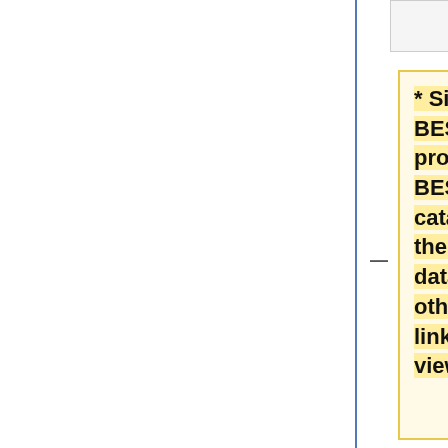* Since the BESThreddsDispatchHandler provides catalogs for the BES holdings, the static catalogs do not support the THREDDS datasetScan element, other than to provide links in the presentation view.